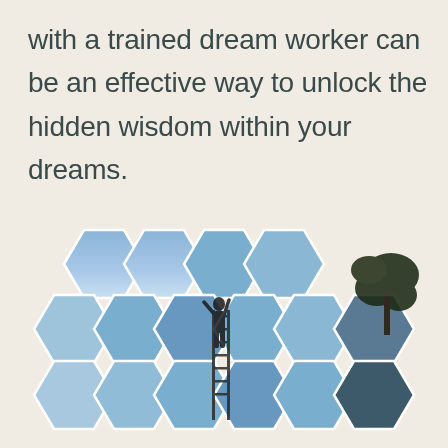with a trained dream worker can be an effective way to unlock the hidden wisdom within your dreams.
[Figure (illustration): A honeycomb pattern of hexagons filled with a sky-blue photograph showing a silhouetted person climbing a ladder, with tree branches visible in the upper right corner.]